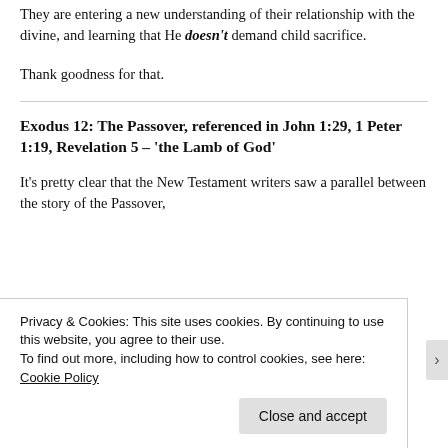They are entering a new understanding of their relationship with the divine, and learning that He doesn't demand child sacrifice.
Thank goodness for that.
Exodus 12: The Passover, referenced in John 1:29, 1 Peter 1:19, Revelation 5 – 'the Lamb of God'
It's pretty clear that the New Testament writers saw a parallel between the story of the Passover,
Privacy & Cookies: This site uses cookies. By continuing to use this website, you agree to their use.
To find out more, including how to control cookies, see here: Cookie Policy